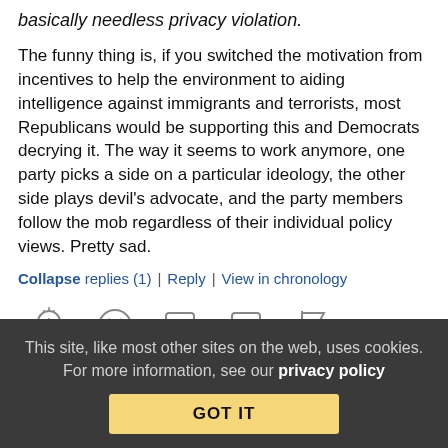basically needless privacy violation.
The funny thing is, if you switched the motivation from incentives to help the environment to aiding intelligence against immigrants and terrorists, most Republicans would be supporting this and Democrats decrying it. The way it seems to work anymore, one party picks a side on a particular ideology, the other side plays devil's advocate, and the party members follow the mob regardless of their individual policy views. Pretty sad.
Collapse replies (1) | Reply | View in chronology
[Figure (infographic): Row of five grey outlined icons: light bulb with dots, laughing/grinning face, speech bubble with left quote marks, speech bubble with right quote marks, flag]
[Figure (infographic): Stacked pages icon in blue with [3] badge in blue text]
This site, like most other sites on the web, uses cookies. For more information, see our privacy policy
GOT IT